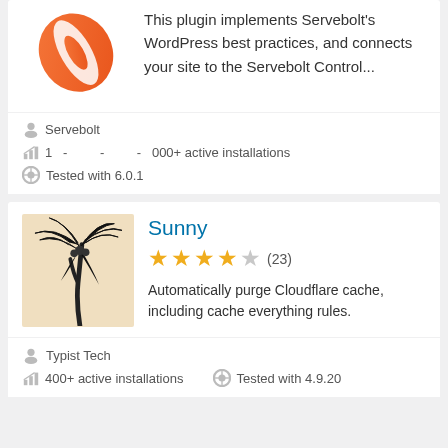[Figure (logo): Servebolt plugin logo — orange swirl on white background, partially visible (cropped at top)]
This plugin implements Servebolt's WordPress best practices, and connects your site to the Servebolt Control...
Servebolt
1   -        -        -   000+ active installations
Tested with 6.0.1
[Figure (illustration): Sunny plugin logo — black palm tree illustration on light beige/tan background]
Sunny
★★★★☆ (23)
Automatically purge Cloudflare cache, including cache everything rules.
Typist Tech
400+ active installations
Tested with 4.9.20